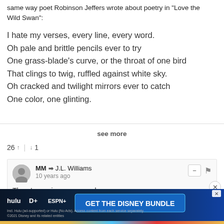same way poet Robinson Jeffers wrote about poetry in "Love the Wild Swan":
I hate my verses, every line, every word.
Oh pale and brittle pencils ever to try
One grass-blade's curve, or the throat of one bird
That clings to twig, ruffled against white sky.
Oh cracked and twilight mirrors ever to catch
One color, one glinting.
see more
26 ▲ | ▼ 1
MM → J.L. Williams
10 years ago
There's one in every crowd.
8 ▲ | ▼
Guest → J.L. Williams
8 years ago
you...
[Figure (screenshot): Disney Bundle advertisement banner with Hulu, Disney+, ESPN+ logos and 'GET THE DISNEY BUNDLE' call-to-action button]